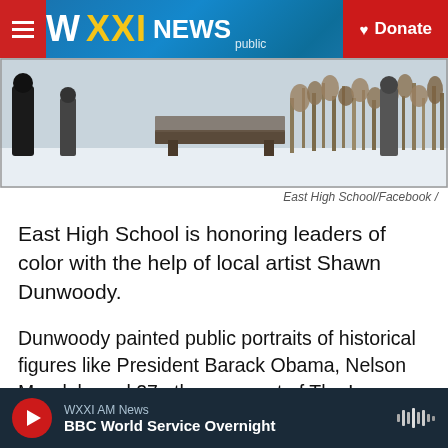WXXI NEWS | Donate
[Figure (photo): Outdoor winter scene at East High School with people standing near a bench, dry reeds in the background, snow on the ground]
East High School/Facebook /
East High School is honoring leaders of color with the help of local artist Shawn Dunwoody.
Dunwoody painted public portraits of historical figures like President Barack Obama, Nelson Mandela and 27 others as part of The Legacy Project: The Eyes of Our Ancestors.
The 10-by-4 portraits are hanging in the school's
WXXI AM News — BBC World Service Overnight